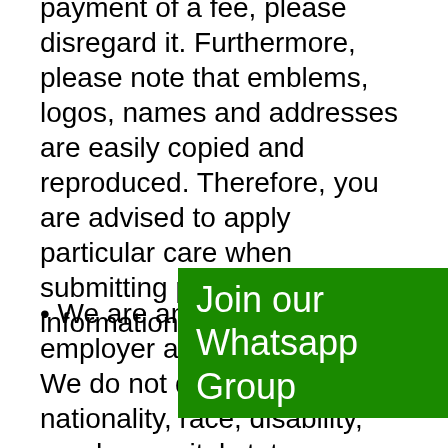payment of a fee, please disregard it. Furthermore, please note that emblems, logos, names and addresses are easily copied and reproduced. Therefore, you are advised to apply particular care when submitting personal information on the web
We are an equal opportunity employer and value diversity. We do not discriminate nationality, race, disability, gender, marital status, or sexual orientation in our employment practices
[Figure (other): Green overlay banner with text 'Join our Whatsapp Group']